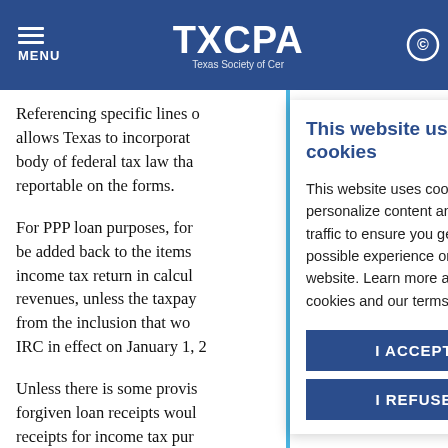MENU | TXCPA Texas Society of Certified Public Accountants
Referencing specific lines on allows Texas to incorporate body of federal tax law that reportable on the forms.
For PPP loan purposes, forg be added back to the items income tax return in calcul revenues, unless the taxpay from the inclusion that wou IRC in effect on January 1, 2
Unless there is some provis forgiven loan receipts woul receipts for income tax pur office will require them to b
This website uses cookies
This website uses cookies to personalize content and analyze traffic to ensure you get the best possible experience on this website. Learn more about cookies and our terms here.
I ACCEPT
I REFUSE